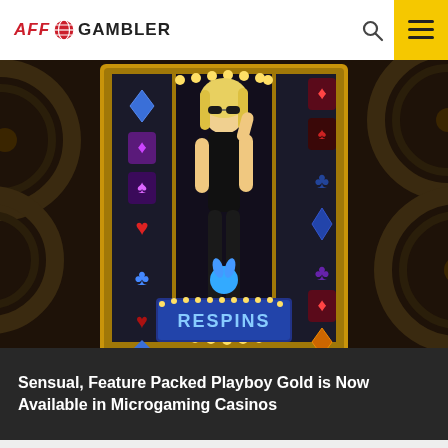AFF GAMBLER
[Figure (screenshot): Playboy Gold slot game screenshot showing a blonde woman in black outfit in center of slot reel display, with various card suit symbols and Playboy bunny logos on reels, gold glittery frame with lights, 'RESPINS' text button at bottom, dark background with decorative roulette wheel patterns]
Sensual, Feature Packed Playboy Gold is Now Available in Microgaming Casinos
Best Casino Bonuses
Casino Welcome Bonuses